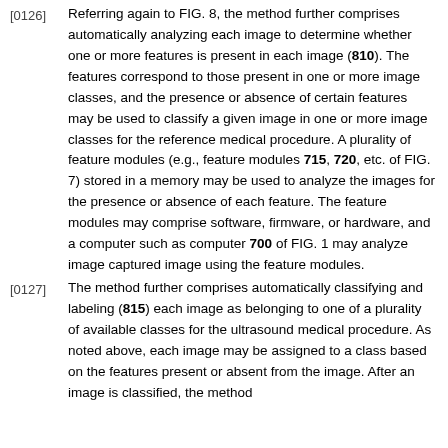[0126] Referring again to FIG. 8, the method further comprises automatically analyzing each image to determine whether one or more features is present in each image (810). The features correspond to those present in one or more image classes, and the presence or absence of certain features may be used to classify a given image in one or more image classes for the reference medical procedure. A plurality of feature modules (e.g., feature modules 715, 720, etc. of FIG. 7) stored in a memory may be used to analyze the images for the presence or absence of each feature. The feature modules may comprise software, firmware, or hardware, and a computer such as computer 700 of FIG. 1 may analyze image captured image using the feature modules.
[0127] The method further comprises automatically classifying and labeling (815) each image as belonging to one of a plurality of available classes for the ultrasound medical procedure. As noted above, each image may be assigned to a class based on the features present or absent from the image. After an image is classified, the method